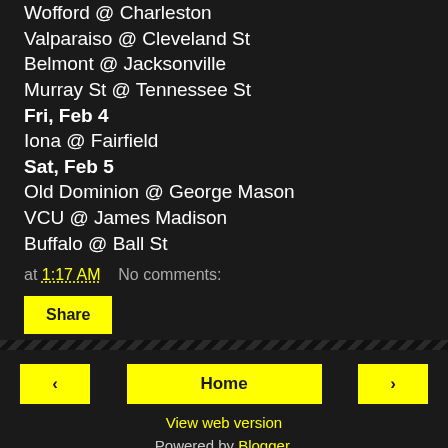Wofford @ Charleston
Valparaiso @ Cleveland St
Belmont @ Jacksonville
Murray St @ Tennessee St
Fri, Feb 4
Iona @ Fairfield
Sat, Feb 5
Old Dominion @ George Mason
VCU @ James Madison
Buffalo @ Ball St
at 1:17 AM    No comments:
Share
◄   Home   ►   View web version   Powered by Blogger.